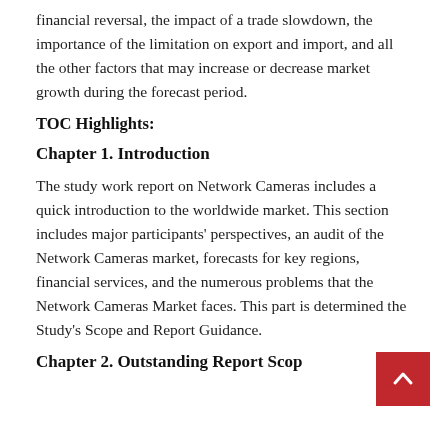financial reversal, the impact of a trade slowdown, the importance of the limitation on export and import, and all the other factors that may increase or decrease market growth during the forecast period.
TOC Highlights:
Chapter 1. Introduction
The study work report on Network Cameras includes a quick introduction to the worldwide market. This section includes major participants' perspectives, an audit of the Network Cameras market, forecasts for key regions, financial services, and the numerous problems that the Network Cameras Market faces. This part is determined the Study's Scope and Report Guidance.
Chapter 2. Outstanding Report Scop...